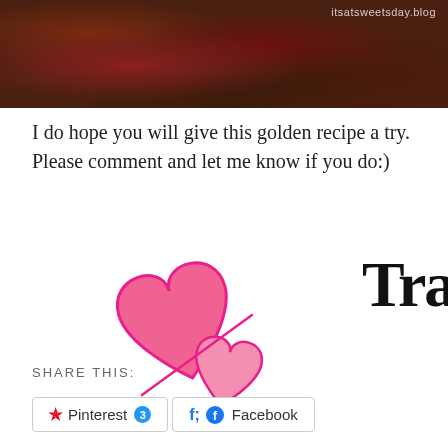[Figure (photo): Close-up food photo showing dark glazed dish with beans/sausages, with watermark 'itsatsweetsday.blog' in top right corner]
I do hope you will give this golden recipe a try.  Please comment and let me know if you do:)
[Figure (illustration): Two pink hearts (one large, one smaller) arranged as a signature decoration, with cursive handwritten text 'Tracy' beside them]
SHARE THIS:
Pinterest 3   Facebook